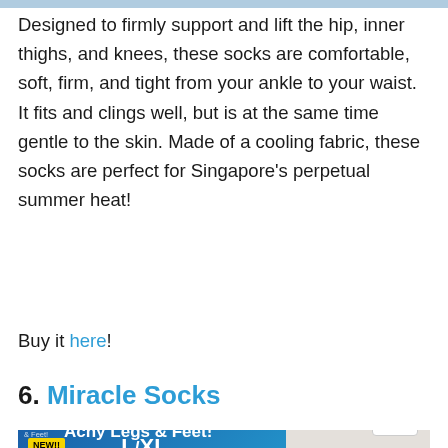Designed to firmly support and lift the hip, inner thighs, and knees, these socks are comfortable, soft, firm, and tight from your ankle to your waist. It fits and clings well, but is at the same time gentle to the skin. Made of a cooling fabric, these socks are perfect for Singapore’s perpetual summer heat!
Buy it here!
6. Miracle Socks
[Figure (photo): Product box of Miracle Socks showing 'NEW!' badge, 'UNISEX' label, 'L/XL' size, and text 'Soothe Tired, Achy Legs & Feet!' on a blue gradient background. A white leg/foot is visible on the right side.]